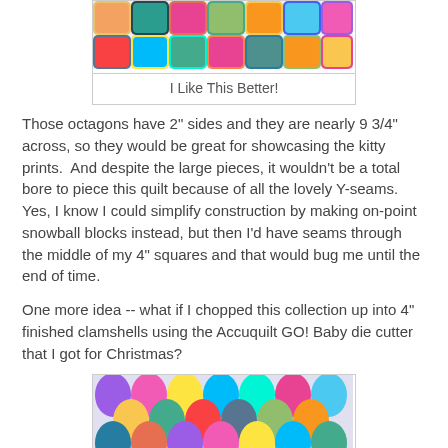[Figure (photo): Colorful patchwork quilt with octagon shapes in various bright fabrics, partially cropped at top]
I Like This Better!
Those octagons have 2" sides and they are nearly 9 3/4" across, so they would be great for showcasing the kitty prints.  And despite the large pieces, it wouldn't be a total bore to piece this quilt because of all the lovely Y-seams.  Yes, I know I could simplify construction by making on-point snowball blocks instead, but then I'd have seams through the middle of my 4" squares and that would bug me until the end of time.
One more idea -- what if I chopped this collection up into 4" finished clamshells using the Accuquilt GO! Baby die cutter that I got for Christmas?
[Figure (photo): Colorful patchwork quilt with clamshell shapes in various bright fabrics, partially cropped at bottom]